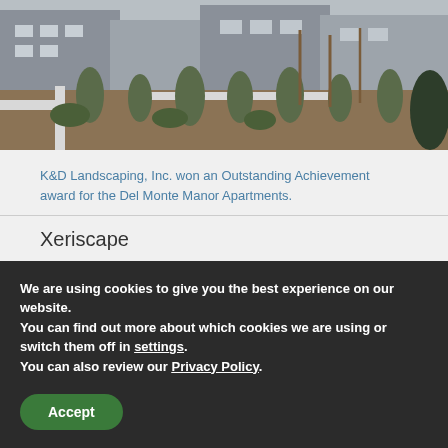[Figure (photo): Outdoor landscaping photo showing drought-tolerant ornamental grasses and shrubs in a mulched bed with white concrete pathways and modern residential buildings in the background.]
K&D Landscaping, Inc. won an Outstanding Achievement award for the Del Monte Manor Apartments.
Xeriscape
An attractive, sustainable landscape that conserves
We are using cookies to give you the best experience on our website.
You can find out more about which cookies we are using or switch them off in settings.
You can also review our Privacy Policy.